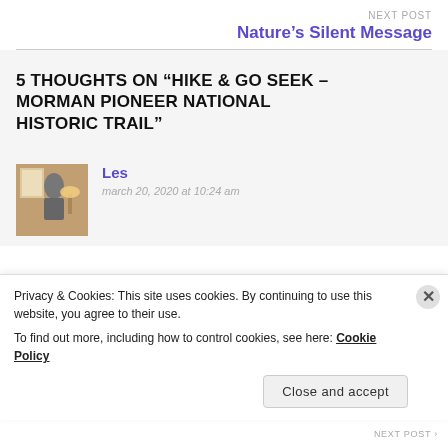NEXT POST
Nature’s Silent Message
5 THOUGHTS ON “HIKE & GO SEEK – MORMAN PIONEER NATIONAL HISTORIC TRAIL”
Les
march 20, 2020 at 10:24 am
Privacy & Cookies: This site uses cookies. By continuing to use this website, you agree to their use.
To find out more, including how to control cookies, see here: Cookie Policy
Close and accept